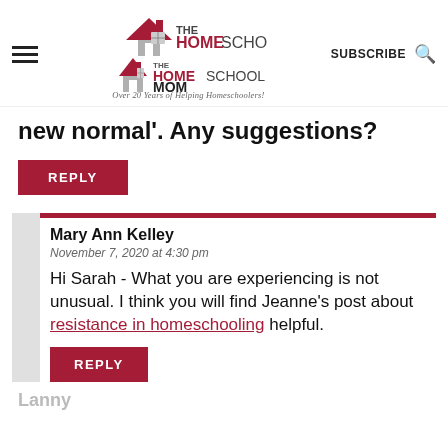THE HOMESCHOOL MOM — Over 20 Years of Helping Homeschoolers! | SUBSCRIBE | [search]
new normal'. Any suggestions?
REPLY
Mary Ann Kelley
November 7, 2020 at 4:30 pm
Hi Sarah - What you are experiencing is not unusual. I think you will find Jeanne's post about resistance in homeschooling helpful.
REPLY
Lanny